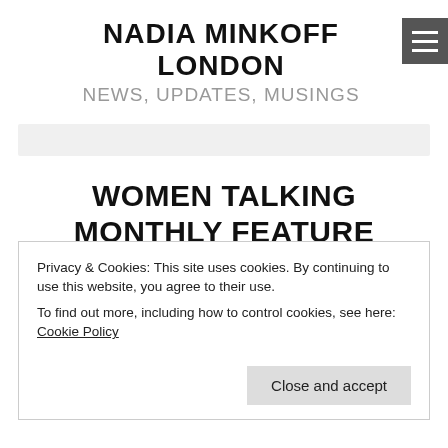NADIA MINKOFF LONDON
NEWS, UPDATES, MUSINGS
WOMEN TALKING MONTHLY FEATURE
SORT MY SUMMER 2015 WARDROBE OUT NOW?
Privacy & Cookies: This site uses cookies. By continuing to use this website, you agree to their use.
To find out more, including how to control cookies, see here: Cookie Policy
Close and accept